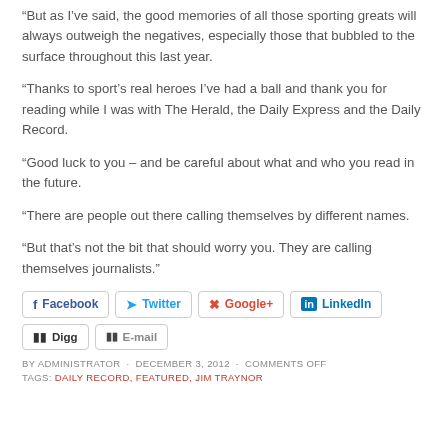“But as I’ve said, the good memories of all those sporting greats will always outweigh the negatives, especially those that bubbled to the surface throughout this last year.
“Thanks to sport’s real heroes I’ve had a ball and thank you for reading while I was with The Herald, the Daily Express and the Daily Record.
“Good luck to you – and be careful about what and who you read in the future.
“There are people out there calling themselves by different names.
“But that’s not the bit that should worry you. They are calling themselves journalists.”
[Figure (other): Social share buttons: Facebook, Twitter, Google+, LinkedIn, Digg, E-mail]
BY ADMINISTRATOR · DECEMBER 3, 2012 · COMMENTS OFF
TAGS: DAILY RECORD, FEATURED, JIM TRAYNOR